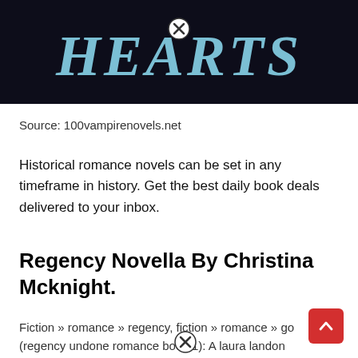[Figure (illustration): Book cover showing the title 'HEARTS' in large light blue serif italic letters on a dark/black background. A small close (X) button overlay is visible near the center-top.]
Source: 100vampirenovels.net
Historical romance novels can be set in any timeframe in history. Get the best daily book deals delivered to your inbox.
Regency Novella By Christina Mcknight.
Fiction » romance » regency, fiction » romance » go... (regency undone romance book 1): A laura landon novella by laura landon